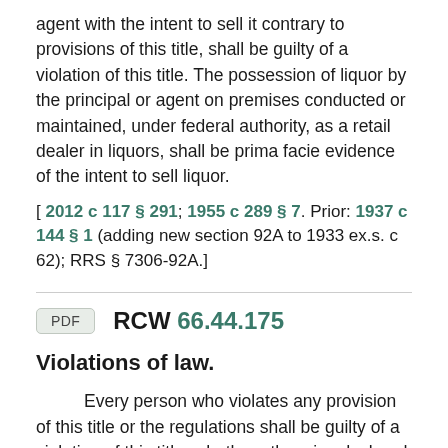agent with the intent to sell it contrary to provisions of this title, shall be guilty of a violation of this title. The possession of liquor by the principal or agent on premises conducted or maintained, under federal authority, as a retail dealer in liquors, shall be prima facie evidence of the intent to sell liquor.
[ 2012 c 117 § 291; 1955 c 289 § 7. Prior: 1937 c 144 § 1 (adding new section 92A to 1933 ex.s. c 62); RRS § 7306-92A.]
RCW 66.44.175
Violations of law.
Every person who violates any provision of this title or the regulations shall be guilty of a violation of this title, whether otherwise declared or not.
[ 1933 ex.s. c 62 § 91; RRS § 7306-91.]